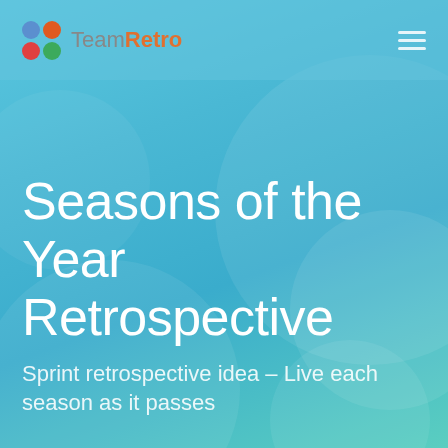TeamRetro
Seasons of the Year Retrospective
Sprint retrospective idea – Live each season as it passes